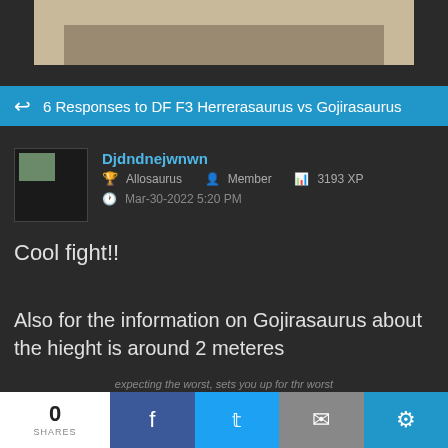[Figure (illustration): Partial view of a dinosaur illustration on a light background, cropped at the top of the page]
6 Responses to DF F3 Herrerasaurus vs Gojirasaurus
Djdndnejwnwn
Allosaurus  Member  3193 XP
Mar-30-2022 5:20 PM
Cool fight!!
Also for the information on Gojirasaurus about the hieght is around 2 meteres
expecting the worst, sets you up for thr worst
0 SHARES